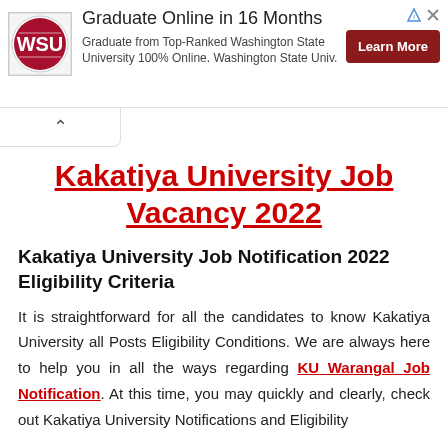[Figure (logo): Washington State University logo — circular red WSU emblem]
Graduate Online in 16 Months
Graduate from Top-Ranked Washington State University 100% Online. Washington State Univ.
[Learn More]
Kakatiya University Job Vacancy 2022
Kakatiya University Job Notification 2022 Eligibility Criteria
It is straightforward for all the candidates to know Kakatiya University all Posts Eligibility Conditions. We are always here to help you in all the ways regarding KU Warangal Job Notification. At this time, you may quickly and clearly, check out Kakatiya University Notifications and Eligibility